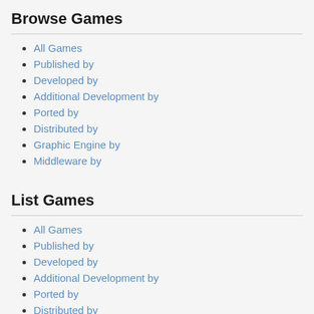Browse Games
All Games
Published by
Developed by
Additional Development by
Ported by
Distributed by
Graphic Engine by
Middleware by
List Games
All Games
Published by
Developed by
Additional Development by
Ported by
Distributed by
Graphic Engine by
Middleware by